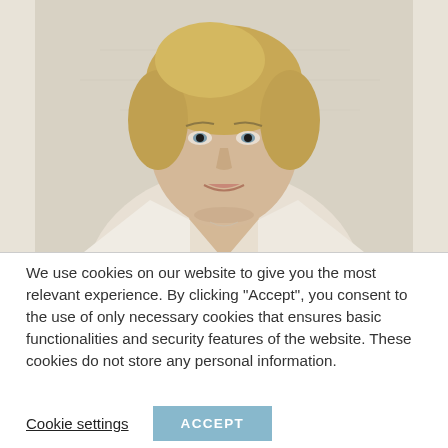[Figure (photo): A smiling blonde woman in a white blazer, photographed from the shoulders up against a light background with what appears to be a whiteboard or wall behind her.]
We use cookies on our website to give you the most relevant experience. By clicking "Accept", you consent to the use of only necessary cookies that ensures basic functionalities and security features of the website. These cookies do not store any personal information.
Cookie settings
ACCEPT